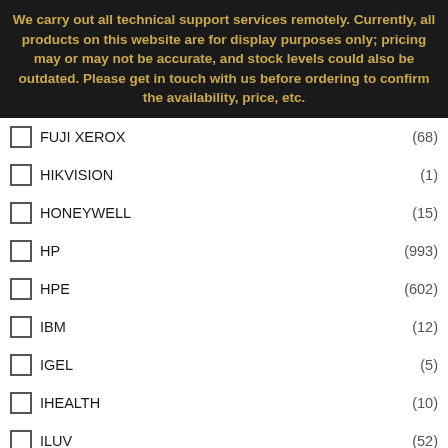We carry out all technical support services remotely. Currently, all products on this website are for display purposes only; pricing may or may not be accurate, and stock levels could also be outdated. Please get in touch with us before ordering to confirm the availability, price, etc.
FUJI XEROX (68)
HIKVISION (1)
HONEYWELL (15)
HP (993)
HPE (602)
IBM (12)
IGEL (5)
IHEALTH (10)
ILUV (52)
IN WIN (11)
INDIGOVISION (81)
INGRAM MICRO (3)
INTEL
INTERMEC
INVISIBLE SHIELD (11)